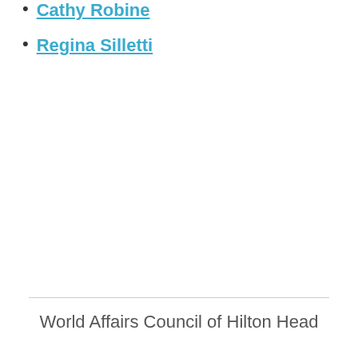Cathy Robine
Regina Silletti
World Affairs Council of Hilton Head